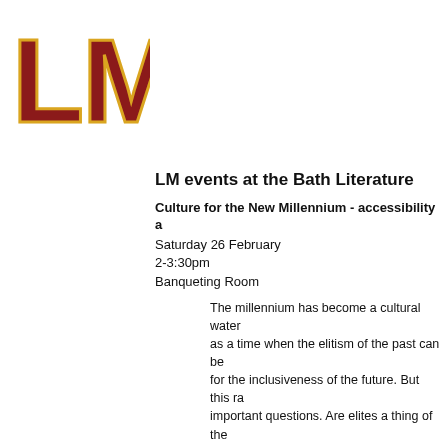[Figure (logo): LM logo in bold dark red/maroon letters with gold/orange outline on white background]
LM events at the Bath Literature
Culture for the New Millennium - accessibility a
Saturday 26 February
2-3:30pm
Banqueting Room
The millennium has become a cultural water as a time when the elitism of the past can be for the inclusiveness of the future. But this ra important questions. Are elites a thing of the British artistic life now ruled by a new elite of experts and professional egalitarians. Are an audiences in safe hands? What price artistic when the audience (or perception of the aud sovereign?
We welcome George Walden, incisive writer and br Wright, controller of Radio 3, and Gillian Reynolds - programme controller of a commercial radio station broadcasting and the arts - to discuss the issues ar culture as the arts become more inclusive.